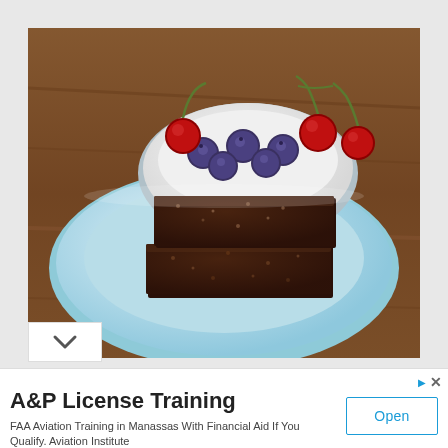[Figure (photo): A food photograph showing two chocolate brownies stacked on a light blue ceramic plate, with a white bowl of mixed cherries and blueberries in the background. Wooden table surface visible.]
[Figure (other): Scroll-down chevron button (white background with down arrow icon) overlapping the bottom-left corner of the food photo.]
A&P License Training
FAA Aviation Training in Manassas With Financial Aid If You Qualify. Aviation Institute